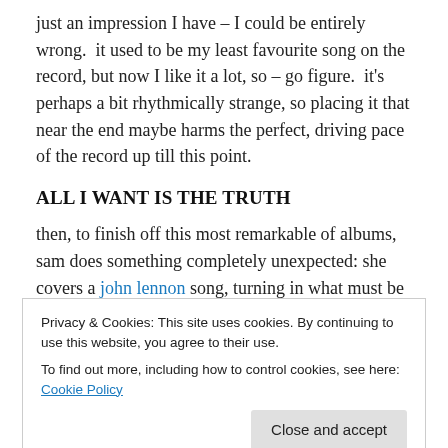just an impression I have – I could be entirely wrong.  it used to be my least favourite song on the record, but now I like it a lot, so – go figure.  it's perhaps a bit rhythmically strange, so placing it that near the end maybe harms the perfect, driving pace of the record up till this point.
ALL I WANT IS THE TRUTH
then, to finish off this most remarkable of albums, sam does something completely unexpected: she covers a john lennon song, turning in what must be one of the very, very best covers of this song out there.  the hard-hitting "gimme
Privacy & Cookies: This site uses cookies. By continuing to use this website, you agree to their use.
To find out more, including how to control cookies, see here: Cookie Policy
guitar parts, instead opting for a lovely, psychedelic pop